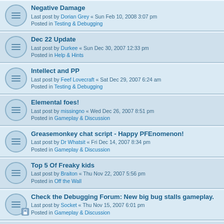Negative Damage
Last post by Dorian Grey « Sun Feb 10, 2008 3:07 pm
Posted in Testing & Debugging
Dec 22 Update
Last post by Durkee « Sun Dec 30, 2007 12:33 pm
Posted in Help & Hints
Intellect and PP
Last post by Feef Lovecraft « Sat Dec 29, 2007 6:24 am
Posted in Testing & Debugging
Elemental foes!
Last post by missingno « Wed Dec 26, 2007 8:51 pm
Posted in Gameplay & Discussion
Greasemonkey chat script - Happy PFEnomenon!
Last post by Dr Whatsit « Fri Dec 14, 2007 8:34 pm
Posted in Gameplay & Discussion
Top 5 Of Freaky kids
Last post by Braiton « Thu Nov 22, 2007 5:56 pm
Posted in Off the Wall
Check the Debugging Forum: New big bug stalls gameplay.
Last post by Socket « Thu Nov 15, 2007 6:01 pm
Posted in Gameplay & Discussion
The game... is in maintenance right now?
Last post by Underfoot « Tue Nov 13, 2007 12:47 am
Posted in Gameplay & Discussion
Payday?
Last post by Jesus « Thu Nov 01, 2007 10:04 pm